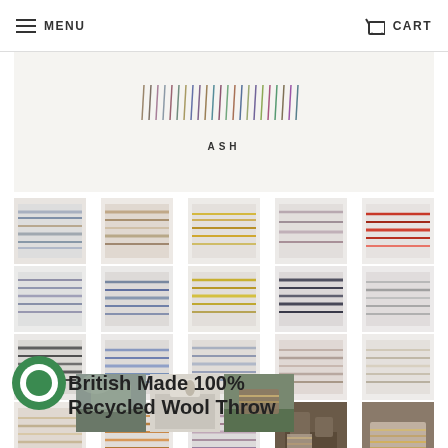MENU | CART
[Figure (photo): Main product image showing a wool throw with colorful fringe detail, labeled ASH]
[Figure (photo): Grid of 23 thumbnail swatches showing different colorways of the recycled wool throw, plus 2 lifestyle photos]
[Figure (photo): Three lifestyle photos of the throw in outdoor settings]
British Made 100% Recycled Wool Throw